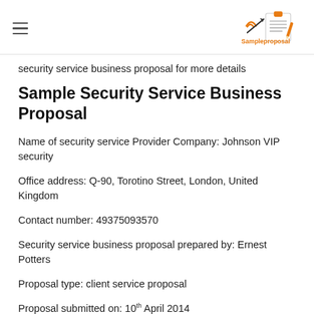Sampleproposal (logo)
security service business proposal for more details
Sample Security Service Business Proposal
Name of security service Provider Company: Johnson VIP security
Office address: Q-90, Torotino Street, London, United Kingdom
Contact number: 49375093570
Security service business proposal prepared by: Ernest Potters
Proposal type: client service proposal
Proposal submitted on: 10th April 2014
Proposal presented to: Henry Black (Client-owner of Henry IT Company)
Objective of proposal:
This proposal has been prepared with the objective of